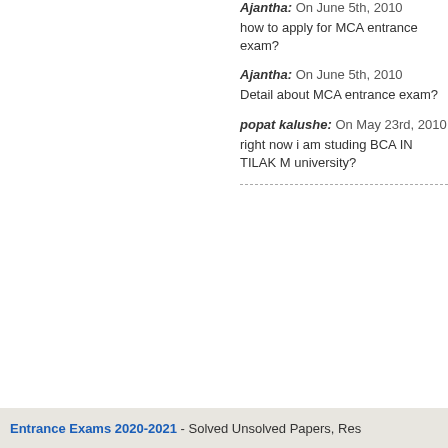Ajantha: On June 5th, 2010
how to apply for MCA entrance exam?
Ajantha: On June 5th, 2010
Detail about MCA entrance exam?
popat kalushe: On May 23rd, 2010
right now i am studing BCA IN TILAK M university?
Previous: Sri Sringeri Sharada Institute of
Entrance Exams 2020-2021 - Solved Unsolved Papers, Res